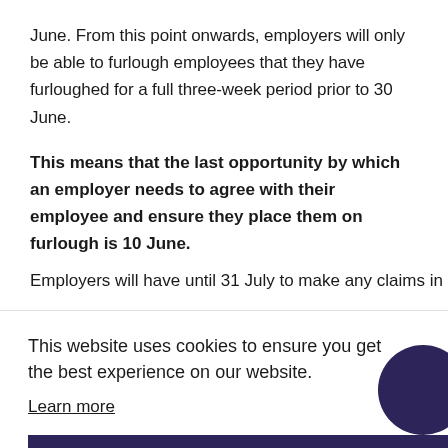June. From this point onwards, employers will only be able to furlough employees that they have furloughed for a full three-week period prior to 30 June.
This means that the last opportunity by which an employer needs to agree with their employee and ensure they place them on furlough is 10 June.
Employers will have until 31 July to make any claims in
This website uses cookies to ensure you get the best experience on our website.
Learn more
Got it!
1 July 2020 – scheme closes to new entrants who have